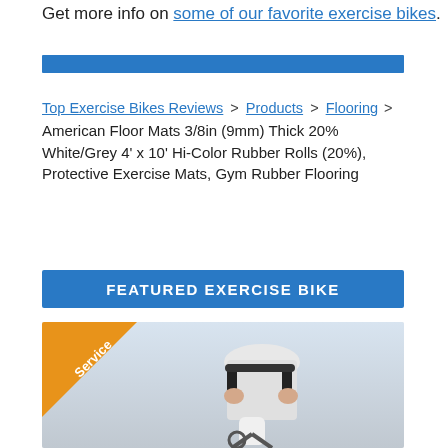Get more info on some of our favorite exercise bikes.
[Figure (other): Blue horizontal divider bar]
Top Exercise Bikes Reviews > Products > Flooring > American Floor Mats 3/8in (9mm) Thick 20% White/Grey 4' x 10' Hi-Color Rubber Rolls (20%), Protective Exercise Mats, Gym Rubber Flooring
FEATURED EXERCISE BIKE
[Figure (photo): Photo of a person using an exercise bike, with a Service badge overlay in orange.]